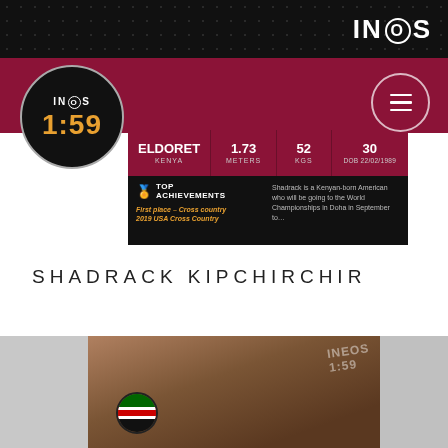INEOS
[Figure (logo): INEOS 1:59 circular logo in black with orange time display]
[Figure (screenshot): Athlete profile card showing ELDORET / KENYA, 1.73 METERS, 52 KGS, 30 DOB 22/02/1989, TOP ACHIEVEMENTS: First place - Cross country, 2019 USA Cross Country; bio text about Shadrack being Kenyan-born American going to World Championships in Doha]
SHADRACK KIPCHIRCHIR
[Figure (photo): Photo of Shadrack Kipchirchir smiling, with Kenyan flag circle badge and INEOS 1:59 watermark, cropped at bottom of page]